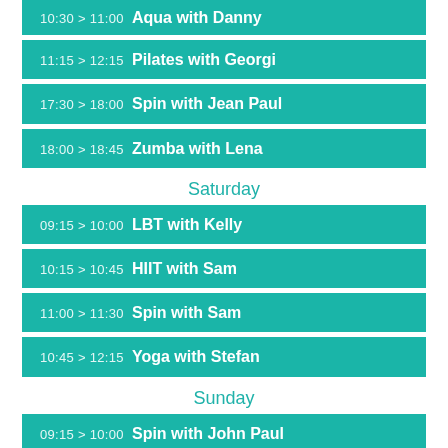10:30 > 11:00  Aqua with Danny
11:15 > 12:15  Pilates with Georgi
17:30 > 18:00  Spin with Jean Paul
18:00 > 18:45  Zumba with Lena
Saturday
09:15 > 10:00  LBT with Kelly
10:15 > 10:45  HIIT with Sam
11:00 > 11:30  Spin with Sam
10:45 > 12:15  Yoga with Stefan
Sunday
09:15 > 10:00  Spin with John Paul
10:00 > 10:45  LBT with Jacob
11:00 > NaN:N  Boxercise with Jacob